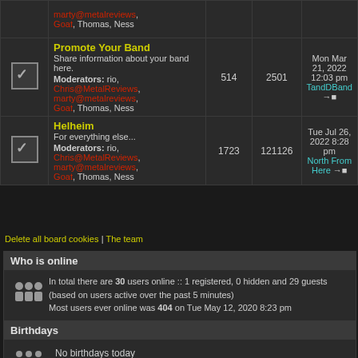|  | Forum | Topics | Posts | Last post |
| --- | --- | --- | --- | --- |
| [icon] | Promote Your Band
Share information about your band here.
Moderators: rio, Chris@MetalReviews, marty@metalreviews, Goat, Thomas, Ness | 514 | 2501 | Mon Mar 21, 2022 12:03 pm
TandDBand |
| [icon] | Helheim
For everything else...
Moderators: rio, Chris@MetalReviews, marty@metalreviews, Goat, Thomas, Ness | 1723 | 121126 | Tue Jul 26, 2022 8:28 pm
North From Here |
Delete all board cookies | The team
Who is online
In total there are 30 users online :: 1 registered, 0 hidden and 29 guests (based on users active over the past 5 minutes)
Most users ever online was 404 on Tue May 12, 2020 8:23 pm
Registered users: Bing [Bot]
Legend :: Administrators, Global moderators
Birthdays
No birthdays today